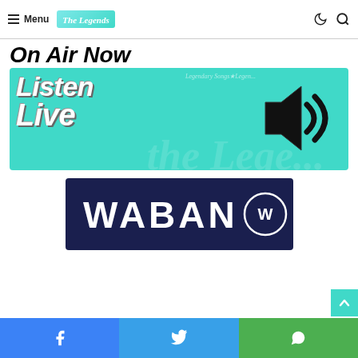Menu | The Legends (logo)
On Air Now
[Figure (illustration): Cyan/turquoise banner with bold italic white text reading 'Listen Live' with a large speaker/audio icon and 'the Legends' watermark text in the background]
[Figure (logo): Dark navy blue rectangle banner with 'WABAN' in large white bold letters and a circular logo mark to the right]
Facebook share | Twitter share | WhatsApp share buttons